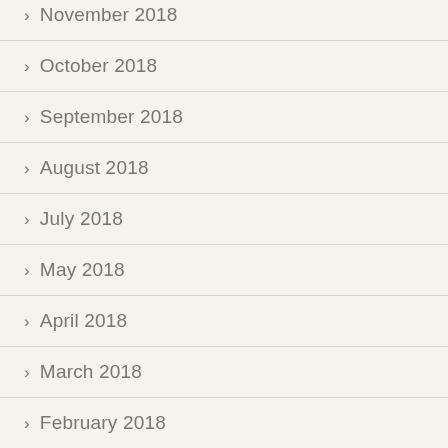November 2018
October 2018
September 2018
August 2018
July 2018
May 2018
April 2018
March 2018
February 2018